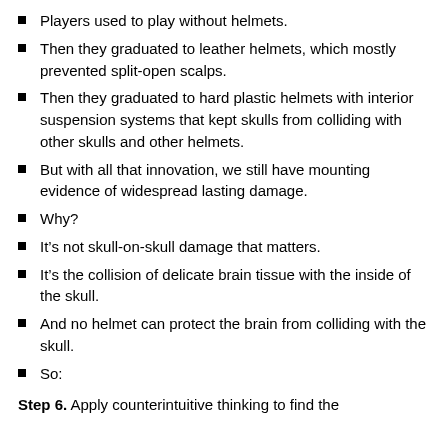Players used to play without helmets.
Then they graduated to leather helmets, which mostly prevented split-open scalps.
Then they graduated to hard plastic helmets with interior suspension systems that kept skulls from colliding with other skulls and other helmets.
But with all that innovation, we still have mounting evidence of widespread lasting damage.
Why?
It’s not skull-on-skull damage that matters.
It’s the collision of delicate brain tissue with the inside of the skull.
And no helmet can protect the brain from colliding with the skull.
So:
Step 6. Apply counterintuitive thinking to find the